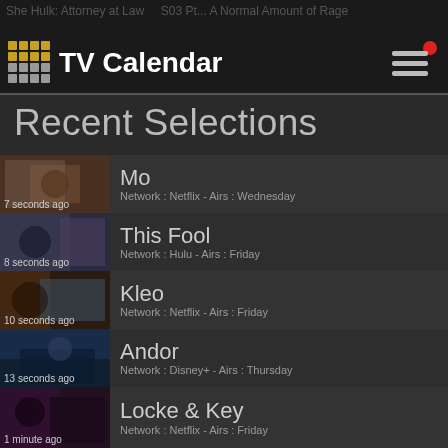TV Calendar
Recent Selections
Mo — Network : Netflix - Airs : Wednesday — 7 seconds ago
This Fool — Network : Hulu - Airs : Friday — 8 seconds ago
Kleo — Network : Netflix - Airs : Friday — 10 seconds ago
Andor — Network : Disney+ - Airs : Thursday — 13 seconds ago
Locke & Key — Network : Netflix - Airs : Friday — 1 minute ago